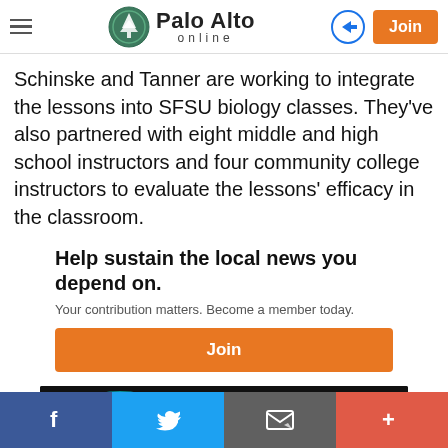Palo Alto online — navigation header with logo, login icon, and Join button
Schinske and Tanner are working to integrate the lessons into SFSU biology classes. They've also partnered with eight middle and high school instructors and four community college instructors to evaluate the lessons' efficacy in the classroom.
Help sustain the local news you depend on.
Your contribution matters. Become a member today.
[Figure (other): Orange Join button for membership]
[Figure (other): Partial advertisement banner with dark background showing colorful graphic and the word TOUR]
Social sharing bar: Facebook, Twitter, Email, More